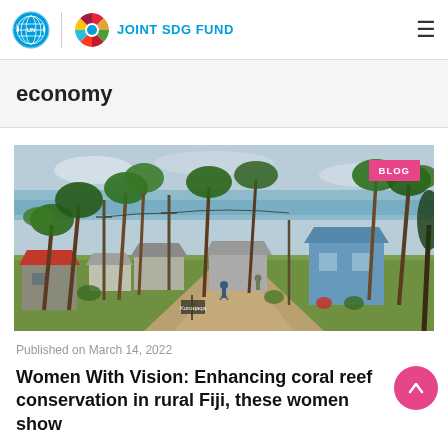JOINT SDG FUND
economy
[Figure (photo): Aerial/elevated view of a rural Fiji village with dirt roads, wooden and concrete buildings, palm trees, and the ocean visible in the background. A pink 'BLOG' badge is overlaid in the upper right corner.]
Published on March 14, 2022
Women With Vision: Enhancing coral reef conservation in rural Fiji, these women show